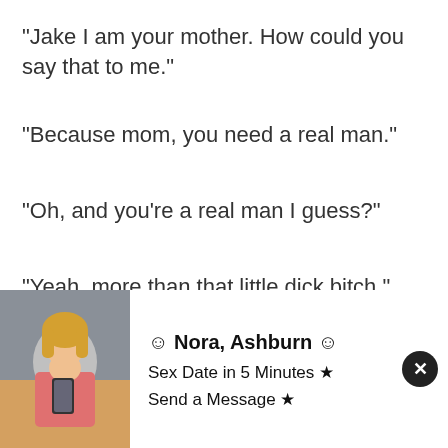"Jake I am your mother. How could you say that to me."
"Because mom, you need a real man."
"Oh, and you're a real man I guess?"
"Yeah, more than that little dick bitch."
"Jake I think you need to go."
[Figure (infographic): Advertisement overlay with photo of blonde woman in pink top taking selfie, showing ad for Nora from Ashburn with text: Sex Date in 5 Minutes, Send a Message, and a close (X) button]